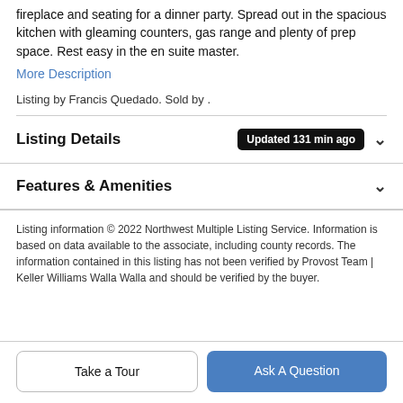fireplace and seating for a dinner party. Spread out in the spacious kitchen with gleaming counters, gas range and plenty of prep space. Rest easy in the en suite master.
More Description
Listing by Francis Quedado. Sold by .
Listing Details  Updated 131 min ago
Features & Amenities
Listing information © 2022 Northwest Multiple Listing Service. Information is based on data available to the associate, including county records. The information contained in this listing has not been verified by Provost Team | Keller Williams Walla Walla and should be verified by the buyer.
Take a Tour
Ask A Question